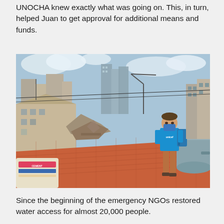UNOCHA knew exactly what was going on. This, in turn, helped Juan to get approval for additional means and funds.
[Figure (photo): A man in a blue UNICEF t-shirt and face mask standing on a rooftop overlooking a damaged urban area in Beirut, Lebanon. Buildings are visible in the background along with debris and destruction from an explosion. A bag of materials sits in the foreground.]
Since the beginning of the emergency NGOs restored water access for almost 20,000 people.